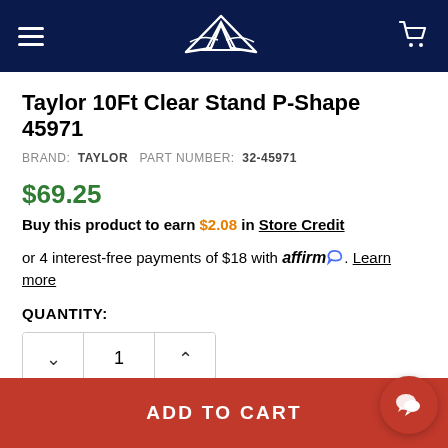Navigation header with hamburger menu, boat logo, and cart icon
Taylor 10Ft Clear Stand P-Shape 45971
BRAND: TAYLOR  PART NUMBER: 32-45971
$69.25
Buy this product to earn $2.08 in Store Credit
or 4 interest-free payments of $18 with affirm. Learn more
QUANTITY:
1
ADD TO CART